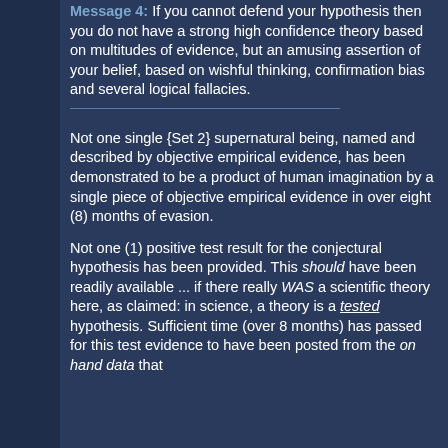Message 4: If you cannot defend your hypothesis then you do not have a strong high confidence theory based on multitudes of evidence, but an amusing assertion of your belief, based on wishful thinking, confirmation bias and several logical fallacies.
Not one single {Set 2} supernatural being, named and described by objective empirical evidence, has been demonstrated to be a product of human imagination by a single piece of objective empirical evidence in over eight (8) months of evasion.
Not one (1) positive test result for the conjectural hypothesis has been provided. This should have been readily available ... if there really WAS a scientific theory here, as claimed: in science, a theory is a tested hypothesis. Sufficient time (over 8 months) has passed for this test evidence to have been posted from the on hand data that